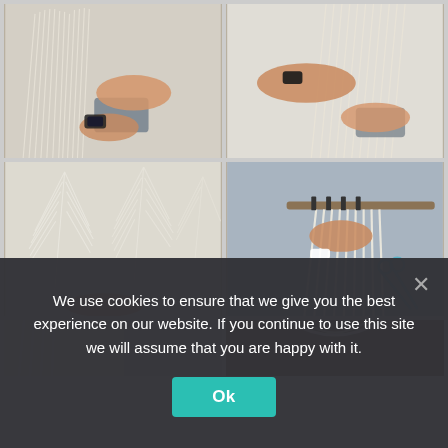[Figure (photo): Grid of four photos showing hands working on macrame/rope craft with a brush tool and scissors, arranging frayed rope strands into feather-like shapes on a surface]
[Figure (photo): Partial view of two more craft photos at the bottom of the grid, partially obscured by the cookie consent overlay]
We use cookies to ensure that we give you the best experience on our website. If you continue to use this site we will assume that you are happy with it.